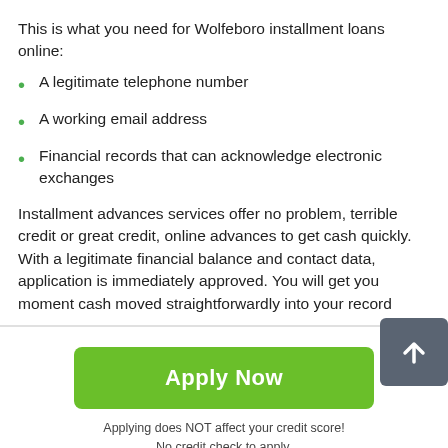This is what you need for Wolfeboro installment loans online:
A legitimate telephone number
A working email address
Financial records that can acknowledge electronic exchanges
Installment advances services offer no problem, terrible credit or great credit, online advances to get cash quickly. With a legitimate financial balance and contact data, application is immediately approved. You will get your moment cash moved straightforwardly into your record
Apply Now
Applying does NOT affect your credit score!
No credit check to apply.